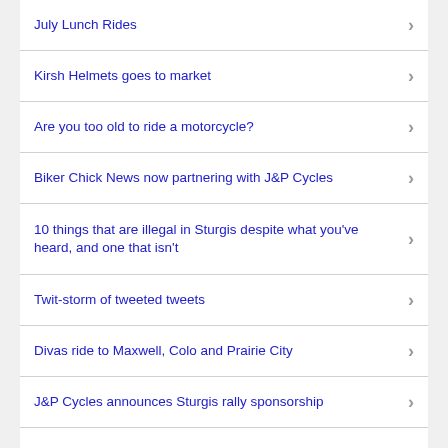July Lunch Rides
Kirsh Helmets goes to market
Are you too old to ride a motorcycle?
Biker Chick News now partnering with J&P Cycles
10 things that are illegal in Sturgis despite what you've heard, and one that isn't
Twit-storm of tweeted tweets
Divas ride to Maxwell, Colo and Prairie City
J&P Cycles announces Sturgis rally sponsorship
How (and when) to improve your motorcycle riding skills